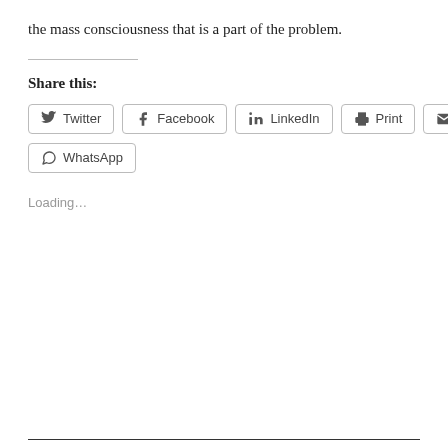the mass consciousness that is a part of the problem.
Share this:
Twitter Facebook LinkedIn Print Email WhatsApp
Loading…